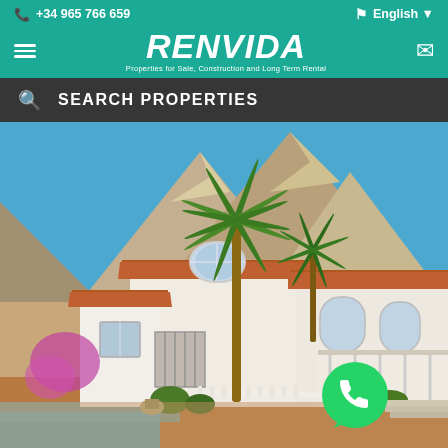+34 965 766 659 | English
[Figure (logo): RENVIDA logo - Properties for Sale, Construction and Long Term Rental - white italic text on teal background]
SEARCH PROPERTIES
[Figure (photo): Exterior photo of a Spanish Mediterranean villa with white walls, terracotta roof tiles, palm trees, mountains and blue sky in the background, swimming pool in foreground, WhatsApp icon overlay in bottom right]